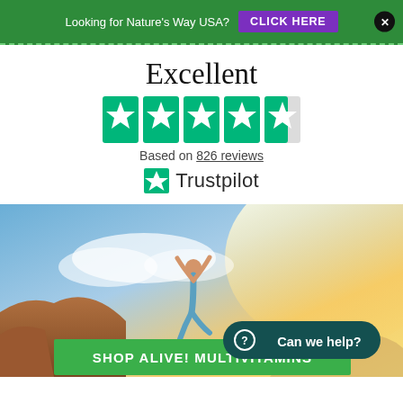Looking for Nature's Way USA? CLICK HERE [X]
Excellent
[Figure (infographic): Trustpilot rating: 4.5 out of 5 stars (5 green star boxes, last one partially filled/grey)]
Based on 826 reviews
[Figure (logo): Trustpilot logo with green star and Trustpilot wordmark]
[Figure (photo): Woman jumping with arms raised in desert landscape with bright sunny sky; green banner overlay reading SHOP ALIVE! MULTIVITAMINS; teal help button reading Can we help?]